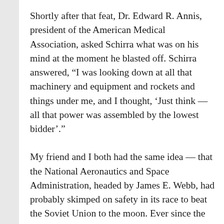Shortly after that feat, Dr. Edward R. Annis, president of the American Medical Association, asked Schirra what was on his mind at the moment he blasted off. Schirra answered, “I was looking down at all that machinery and equipment and rockets and things under me, and I thought, ‘Just think — all that power was assembled by the lowest bidder’.”
My friend and I both had the same idea — that the National Aeronautics and Space Administration, headed by James E. Webb, had probably skimped on safety in its race to beat the Soviet Union to the moon. Ever since the